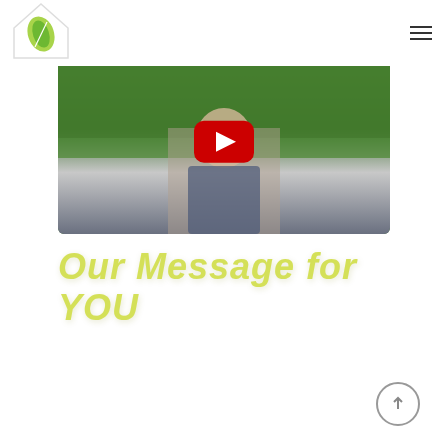[Figure (logo): Green leaf icon inside a house/diamond shape — company logo]
[Figure (screenshot): YouTube video thumbnail showing a man outdoors with trees in background and red YouTube play button overlay]
Our Message for YOU